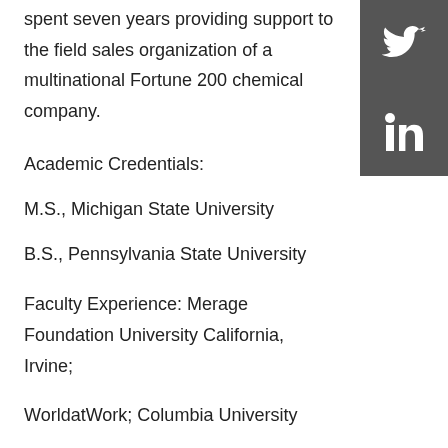spent seven years providing support to the field sales organization of a multinational Fortune 200 chemical company.
[Figure (other): Social media icons: Twitter and LinkedIn on dark grey background, top-right corner]
Academic Credentials:
M.S., Michigan State University
B.S., Pennsylvania State University
Faculty Experience: Merage Foundation University California, Irvine;
WorldatWork; Columbia University